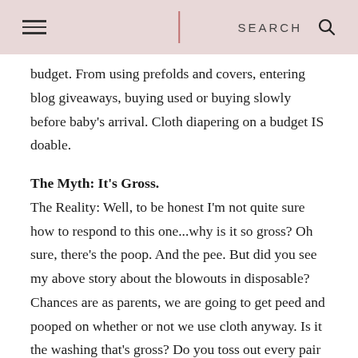≡  |  SEARCH  🔍
budget. From using prefolds and covers, entering blog giveaways, buying used or buying slowly before baby's arrival. Cloth diapering on a budget IS doable.
The Myth: It's Gross.
The Reality: Well, to be honest I'm not quite sure how to respond to this one...why is it so gross? Oh sure, there's the poop. And the pee. But did you see my above story about the blowouts in disposable? Chances are as parents, we are going to get peed and pooped on whether or not we use cloth anyway. Is it the washing that's gross? Do you toss out every pair of undies your child has an accident on while potty training? Or every outfit that gets soiled? I'm guessing not! They are perfectly clean after each wash...nothing gross about